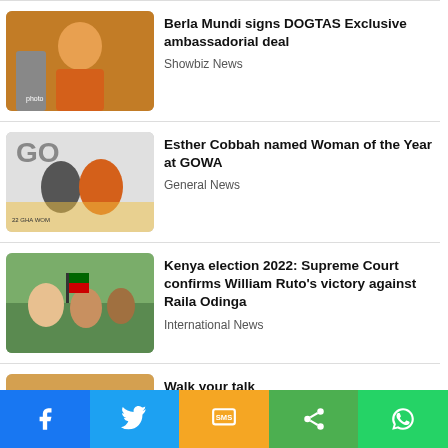[Figure (photo): Woman in orange outfit smiling, news thumbnail for Berla Mundi story]
Berla Mundi signs DOGTAS Exclusive ambassadorial deal
Showbiz News
[Figure (photo): Two women at GOWA event, thumbnail for Esther Cobbah story]
Esther Cobbah named Woman of the Year at GOWA
General News
[Figure (photo): Crowd celebrating Kenya election, thumbnail for William Ruto story]
Kenya election 2022: Supreme Court confirms William Ruto's victory against Raila Odinga
International News
[Figure (photo): Person walking on dirt road at sunrise, thumbnail for Walk your talk story]
Walk your talk
Lifestyle
[Figure (infographic): Social media share bar with Facebook, Twitter, SMS, Share, and WhatsApp buttons]